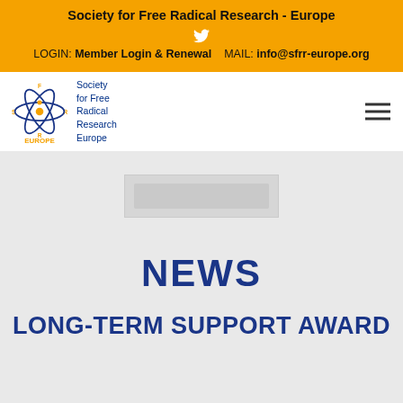Society for Free Radical Research - Europe
LOGIN: Member Login & Renewal    MAIL: info@sfrr-europe.org
[Figure (logo): SFRR Europe logo with atom graphic and text: Society for Free Radical Research Europe]
[Figure (screenshot): Blurred banner image placeholder]
NEWS
LONG-TERM SUPPORT AWARD